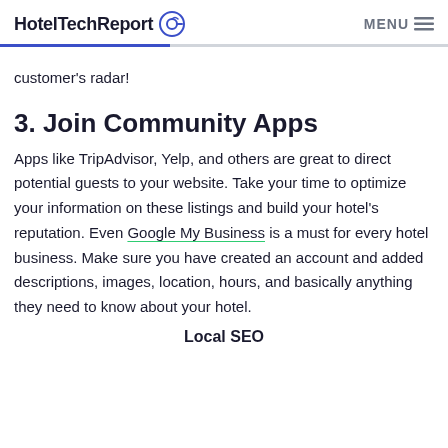HotelTechReport | MENU
customer's radar!
3. Join Community Apps
Apps like TripAdvisor, Yelp, and others are great to direct potential guests to your website. Take your time to optimize your information on these listings and build your hotel's reputation. Even Google My Business is a must for every hotel business. Make sure you have created an account and added descriptions, images, location, hours, and basically anything they need to know about your hotel.
Local SEO